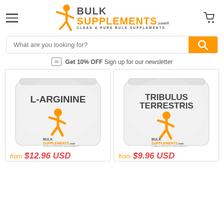[Figure (logo): BulkSupplements.com logo with orange stick figure and text CLEAN & PURE BULK SUPPLEMENTS]
[Figure (screenshot): Search bar with placeholder 'What are you looking for?' and orange search button]
Get 10% OFF Sign up for our newsletter
[Figure (photo): L-ARGININE product bag from BulkSupplements.com]
from $12.96 USD
[Figure (photo): TRIBULUS TERRESTRIS product bag from BulkSupplements.com]
from $9.96 USD